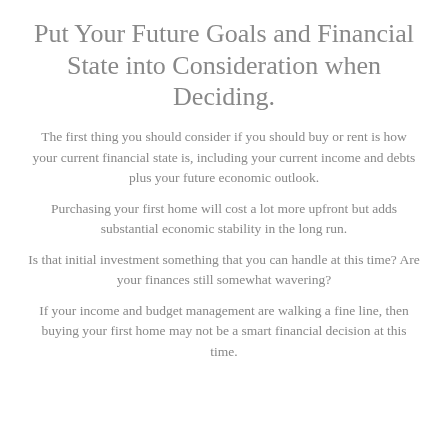Put Your Future Goals and Financial State into Consideration when Deciding.
The first thing you should consider if you should buy or rent is how your current financial state is, including your current income and debts plus your future economic outlook.
Purchasing your first home will cost a lot more upfront but adds substantial economic stability in the long run.
Is that initial investment something that you can handle at this time? Are your finances still somewhat wavering?
If your income and budget management are walking a fine line, then buying your first home may not be a smart financial decision at this time.